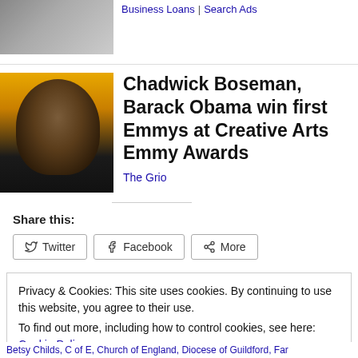[Figure (photo): Photo of money/business with a person in a suit, partially visible at top]
Business Loans | Search Ads
[Figure (photo): Portrait photo of Chadwick Boseman against yellow background]
Chadwick Boseman, Barack Obama win first Emmys at Creative Arts Emmy Awards
The Grio
Share this:
Twitter
Facebook
More
Privacy & Cookies: This site uses cookies. By continuing to use this website, you agree to their use.
To find out more, including how to control cookies, see here: Cookie Policy
Close and accept
Betsy Childs, C of E, Church of England, Diocese of Guildford, Far